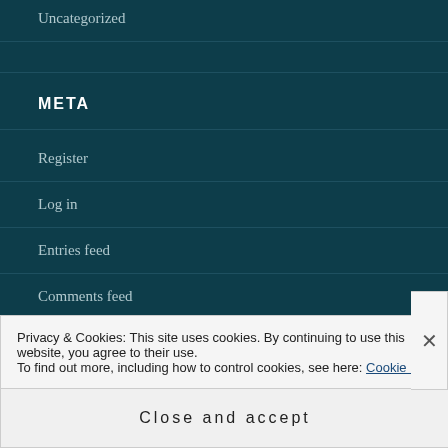Uncategorized
META
Register
Log in
Entries feed
Comments feed
Privacy & Cookies: This site uses cookies. By continuing to use this website, you agree to their use.
To find out more, including how to control cookies, see here: Cookie Policy
Close and accept